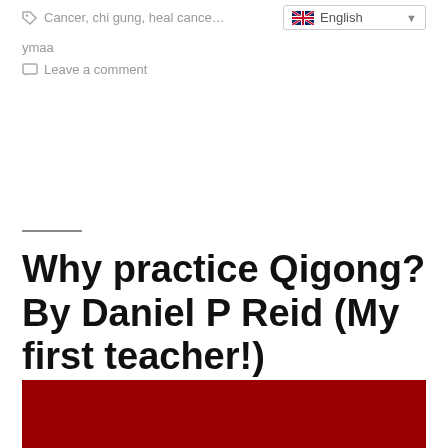Cancer, chi gung, heal cancer, ymaa
ymaa
Leave a comment
Why practice Qigong? By Daniel P Reid (My first teacher!)
[Figure (photo): Red image/banner at the bottom of the page]